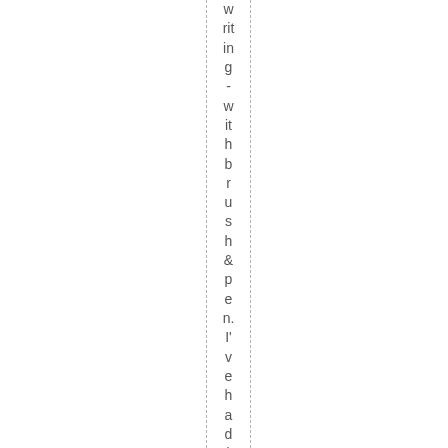writing - with brush & pen. I've had the h